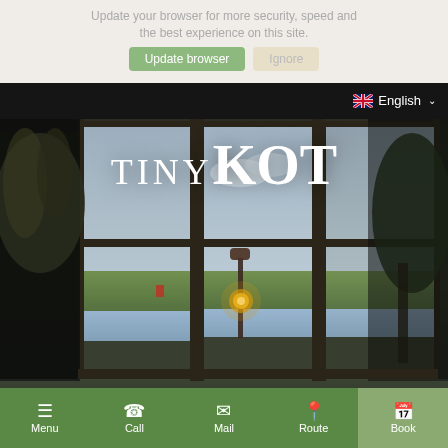Update your browser for more security, speed and the best experience on this site.
[Figure (screenshot): Two buttons: green 'Update browser' button and beige 'Ignore' button]
[Figure (photo): Hero photo of Tiny Kot interior showing large windows with garden/water view, plants, and Edison bulb lamp. Navigation bar with language selector showing UK flag and 'English' with dropdown chevron. Large white brand text 'tinyKOT' overlaid in center.]
tinyKOT
Menu | Call | Mail | Route | Book